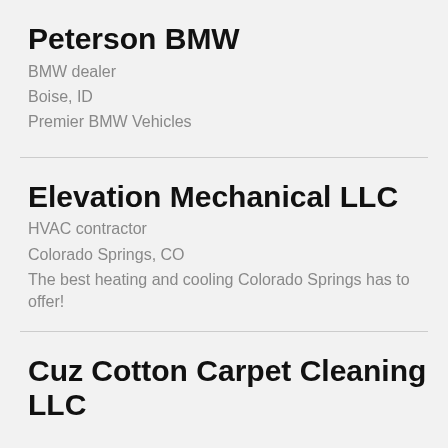Peterson BMW
BMW dealer
Boise, ID
Premier BMW Vehicles
Elevation Mechanical LLC
HVAC contractor
Colorado Springs, CO
The best heating and cooling Colorado Springs has to offer!
Cuz Cotton Carpet Cleaning LLC